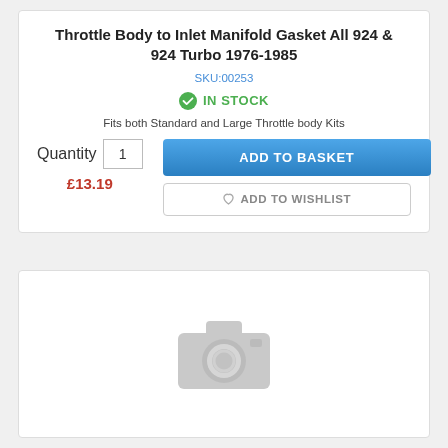Throttle Body to Inlet Manifold Gasket All 924 & 924 Turbo 1976-1985
SKU:00253
IN STOCK
Fits both Standard and Large Throttle body Kits
Quantity  1  £13.19
ADD TO BASKET
ADD TO WISHLIST
[Figure (photo): Placeholder image with a grey camera icon indicating no product photo is available]